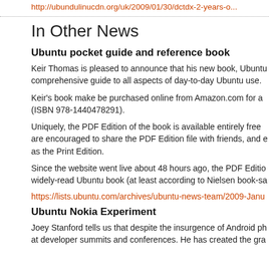http://ubuntulinucdn.org/uk/2009/01/30/detdx-2-years-...
In Other News
Ubuntu pocket guide and reference book
Keir Thomas is pleased to announce that his new book, Ubuntu... comprehensive guide to all aspects of day-to-day Ubuntu use.
Keir's book make be purchased online from Amazon.com for a ... (ISBN 978-1440478291).
Uniquely, the PDF Edition of the book is available entirely free ... are encouraged to share the PDF Edition file with friends, and e... as the Print Edition.
Since the website went live about 48 hours ago, the PDF Editio... widely-read Ubuntu book (at least according to Nielsen book-sa...
https://lists.ubuntu.com/archives/ubuntu-news-team/2009-Janu...
Ubuntu Nokia Experiment
Joey Stanford tells us that despite the insurgence of Android ph... at developer summits and conferences. He has created the gra...